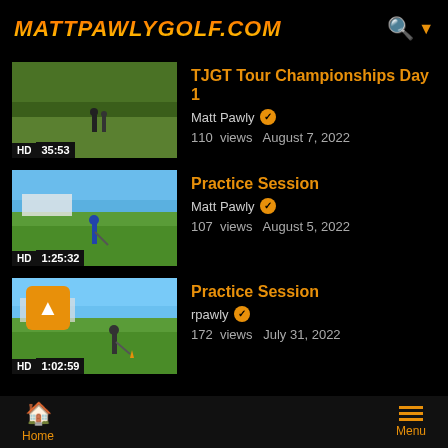MATTPAWLYGOLF.COM
[Figure (screenshot): Video thumbnail for TJGT Tour Championships Day 1, golf course scene, HD, duration 35:53]
TJGT Tour Championships Day 1
Matt Pawly ✓
110 views   August 7, 2022
[Figure (screenshot): Video thumbnail for Practice Session, golf driving range scene, HD, duration 1:25:32]
Practice Session
Matt Pawly ✓
107 views   August 5, 2022
[Figure (screenshot): Video thumbnail for Practice Session with back-to-top button overlay, HD, duration 1:02:59]
Practice Session
rpawly ✓
172 views   July 31, 2022
Home   Menu